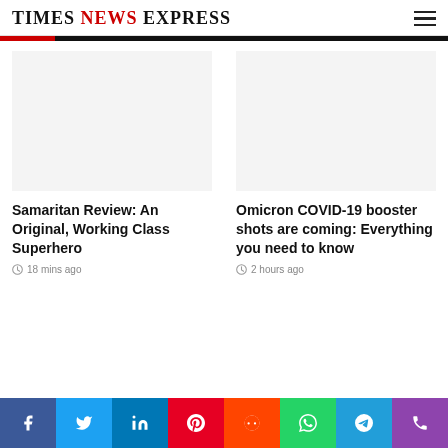Times News Express
Samaritan Review: An Original, Working Class Superhero
18 mins ago
Omicron COVID-19 booster shots are coming: Everything you need to know
2 hours ago
Social share bar: Facebook, Twitter, LinkedIn, Pinterest, Reddit, WhatsApp, Telegram, Phone